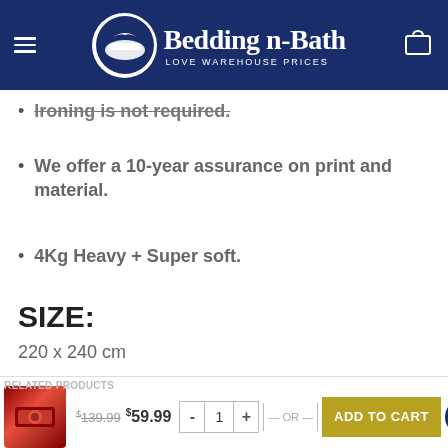Bedding n Bath — Love Warehouse Prices
Ironing is not required.
We offer a 10-year assurance on print and material.
4Kg Heavy + Super soft.
SIZE:
220 x 240 cm
RELATED PRODUCTS  $139.99  $59.99  - 1 + — OR —  ADD TO CART